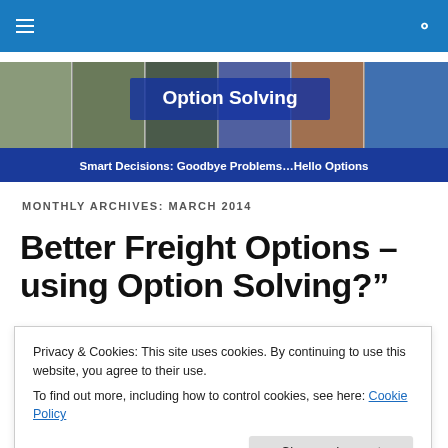Navigation bar with hamburger menu and search icon
[Figure (illustration): Option Solving banner with photos of pedestrians, cyclists, motorcyclist, car, coastal road, and speedboat. Text overlay: 'Option Solving'. Subtitle bar: 'Smart Decisions: Goodbye Problems…Hello Options']
MONTHLY ARCHIVES: MARCH 2014
Better Freight Options – using Option Solving?"
Privacy & Cookies: This site uses cookies. By continuing to use this website, you agree to their use.
To find out more, including how to control cookies, see here: Cookie Policy
Close and accept